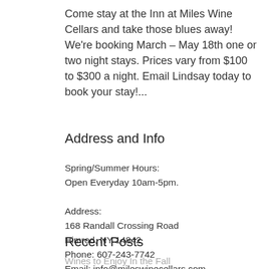Come stay at the Inn at Miles Wine Cellars and take those blues away! We're booking March – May 18th one or two night stays. Prices vary from $100 to $300 a night. Email Lindsay today to book your stay!...
Address and Info
Spring/Summer Hours:
Open Everyday 10am-5pm.

Address:
168 Randall Crossing Road
Himrod, NY 14842
Phone: 607-243-7742
Email: info@mileswinecellars.com
Recent Posts
Wines to Enjoy In the Fall